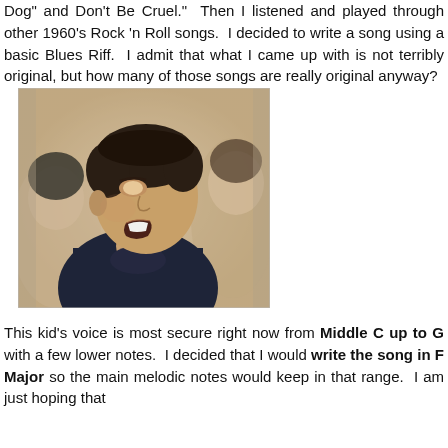Dog" and Don't Be Cruel."  Then I listened and played through other 1960's Rock 'n Roll songs.  I decided to write a song using a basic Blues Riff.  I admit that what I came up with is not terribly original, but how many of those songs are really original anyway?
[Figure (photo): A boy singing in profile, facing right, with mouth open. Other children are partially visible in the background. The boy wears a dark turtleneck.]
This kid's voice is most secure right now from Middle C up to G with a few lower notes.  I decided that I would write the song in F Major so the main melodic notes would keep in that range.  I am just hoping that